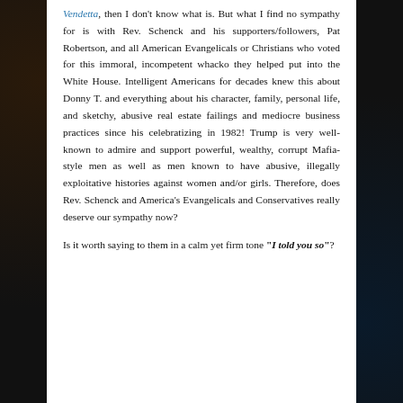Vendetta, then I don't know what is. But what I find no sympathy for is with Rev. Schenck and his supporters/followers, Pat Robertson, and all American Evangelicals or Christians who voted for this immoral, incompetent whacko they helped put into the White House. Intelligent Americans for decades knew this about Donny T. and everything about his character, family, personal life, and sketchy, abusive real estate failings and mediocre business practices since his celebratizing in 1982! Trump is very well-known to admire and support powerful, wealthy, corrupt Mafia-style men as well as men known to have abusive, illegally exploitative histories against women and/or girls. Therefore, does Rev. Schenck and America's Evangelicals and Conservatives really deserve our sympathy now?

Is it worth saying to them in a calm yet firm tone “I told you so”?